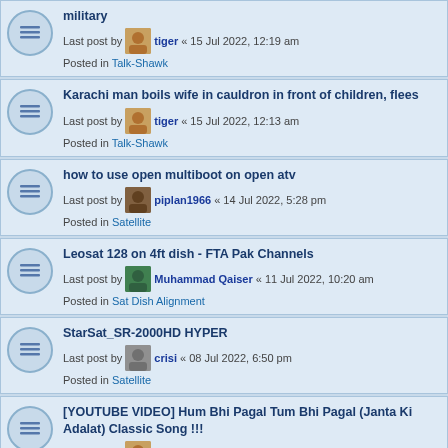military | Last post by tiger « 15 Jul 2022, 12:19 am | Posted in Talk-Shawk
Karachi man boils wife in cauldron in front of children, flees | Last post by tiger « 15 Jul 2022, 12:13 am | Posted in Talk-Shawk
how to use open multiboot on open atv | Last post by piplan1966 « 14 Jul 2022, 5:28 pm | Posted in Satellite
Leosat 128 on 4ft dish - FTA Pak Channels | Last post by Muhammad Qaiser « 11 Jul 2022, 10:20 am | Posted in Sat Dish Alignment
StarSat_SR-2000HD HYPER | Last post by crisi « 08 Jul 2022, 6:50 pm | Posted in Satellite
[YOUTUBE VIDEO] Hum Bhi Pagal Tum Bhi Pagal (Janta Ki Adalat) Classic Song !!! | Last post by tiger « 04 Jul 2022, 2:37 pm | Posted in Videos
[YOUTUBE VIDEO] Sabhi Ko Khuda Ki Khudai Ne Mara